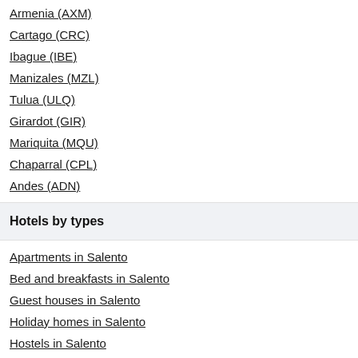Armenia (AXM)
Cartago (CRC)
Ibague (IBE)
Manizales (MZL)
Tulua (ULQ)
Girardot (GIR)
Mariquita (MQU)
Chaparral (CPL)
Andes (ADN)
Hotels by types
Apartments in Salento
Bed and breakfasts in Salento
Guest houses in Salento
Holiday homes in Salento
Hostels in Salento